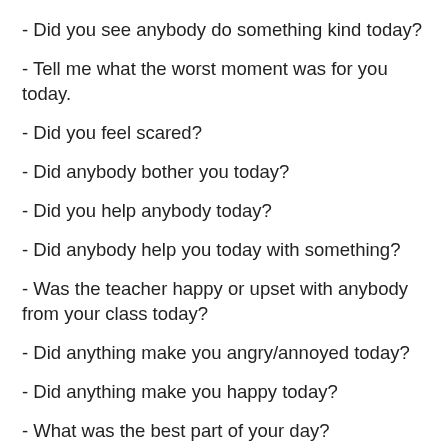- Did you see anybody do something kind today?
- Tell me what the worst moment was for you today.
- Did you feel scared?
- Did anybody bother you today?
- Did you help anybody today?
- Did anybody help you today with something?
- Was the teacher happy or upset with anybody from your class today?
- Did anything make you angry/annoyed today?
- Did anything make you happy today?
- What was the best part of your day?
- If you could change one thing about today, what would it